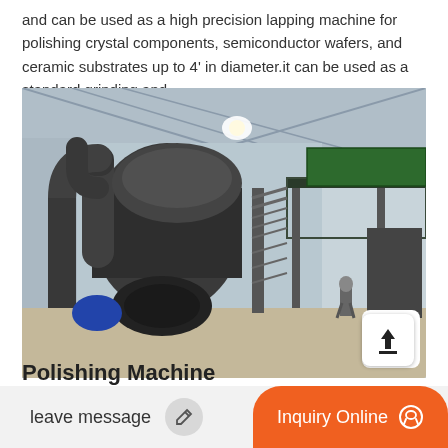and can be used as a high precision lapping machine for polishing crystal components, semiconductor wafers, and ceramic substrates up to 4' in diameter.it can be used as a standard grinding and
[Figure (photo): Industrial machinery inside a large warehouse/factory building with metal roof. A large dark-colored industrial processing unit with multiple pipes, ducts, and a metal staircase is visible. A person is walking in the background on the right side. A green elevated platform/conveyor is visible on the right.]
Polishing Machine F...
leave message
Inquiry Online